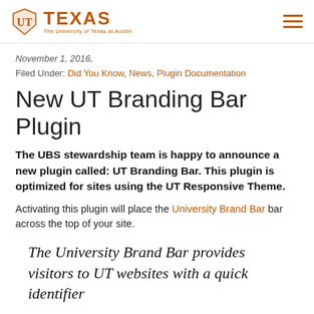TEXAS The University of Texas at Austin
November 1, 2016,
Filed Under: Did You Know, News, Plugin Documentation
New UT Branding Bar Plugin
The UBS stewardship team is happy to announce a new plugin called: UT Branding Bar. This plugin is optimized for sites using the UT Responsive Theme.
Activating this plugin will place the University Brand Bar bar across the top of your site.
The University Brand Bar provides visitors to UT websites with a quick identifier